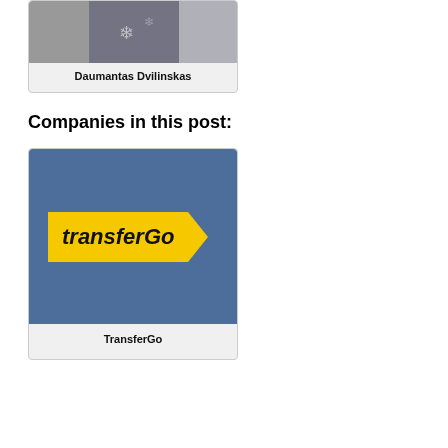[Figure (photo): Photo of Daumantas Dvilinskas in a patterned sweater]
Daumantas Dvilinskas
Companies in this post:
[Figure (logo): TransferGo logo — yellow arrow-shaped badge with italic transferGo text on a dark blue background]
TransferGo